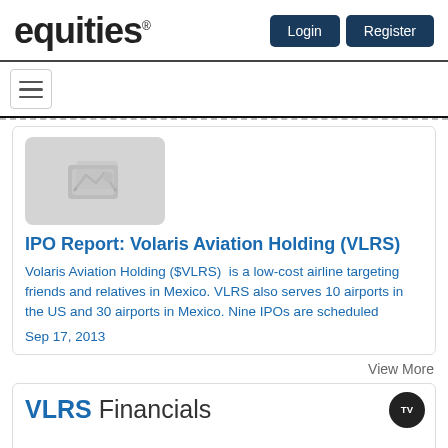equities
[Figure (screenshot): Image placeholder with photo icon]
IPO Report: Volaris Aviation Holding (VLRS)
Volaris Aviation Holding ($VLRS) is a low-cost airline targeting friends and relatives in Mexico. VLRS also serves 10 airports in the US and 30 airports in Mexico. Nine IPOs are scheduled
Sep 17, 2013
View More
VLRS Financials